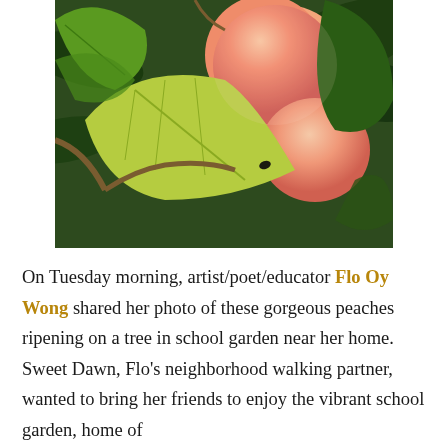[Figure (photo): Close-up photo of ripe peaches on a tree branch surrounded by green and yellow-green leaves. The peaches are round, pink-red in color with a fuzzy surface. Tree branch visible in foreground.]
On Tuesday morning, artist/poet/educator Flo Oy Wong shared her photo of these gorgeous peaches ripening on a tree in school garden near her home. Sweet Dawn, Flo's neighborhood walking partner, wanted to bring her friends to enjoy the vibrant school garden, home of